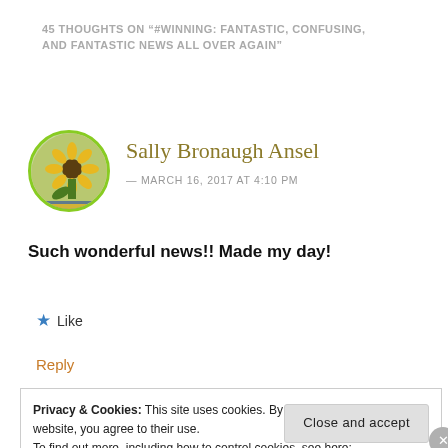45 THOUGHTS ON "#WINNING: FANTASTIC, CONFUSING, AND FANTASTIC NEWS ALL OVER AGAIN"
[Figure (photo): Round avatar photo of Sally Bronaugh Ansel showing sunflowers, with green circular border]
Sally Bronaugh Ansel
— MARCH 16, 2017 AT 4:10 PM
Such wonderful news!! Made my day!
★ Like
Reply
Privacy & Cookies: This site uses cookies. By continuing to use this website, you agree to their use.
To find out more, including how to control cookies, see here: Cookie Policy
Close and accept